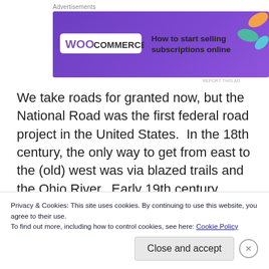Advertisements
[Figure (illustration): WooCommerce advertisement banner with purple background, WooCommerce logo on left, text 'How to start selling subscriptions online', and decorative leaf shapes on right]
We take roads for granted now, but the National Road was the first federal road project in the United States.  In the 18th century, the only way to get from east to the (old) west was via blazed trails and the Ohio River.  Early 19th century canals in Ohio tended to travel north and south, not east and west. The National Road took nearly three decades to build, but it facilitated travel and
Privacy & Cookies: This site uses cookies. By continuing to use this website, you agree to their use.
To find out more, including how to control cookies, see here: Cookie Policy
Close and accept